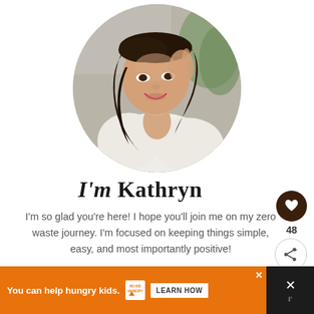[Figure (photo): Circular profile photo of a smiling young woman with dark wavy hair, wearing a white off-shoulder top, with one hand raised near her face]
I'm Kathryn
I'm so glad you're here! I hope you'll join me on my zero waste journey. I'm focused on keeping things simple, easy, and most importantly positive!
MORE ABOUT KATHRYN →
[Figure (infographic): Orange advertisement banner: 'You can help hungry kids. NO KID HUNGRY. LEARN HOW']